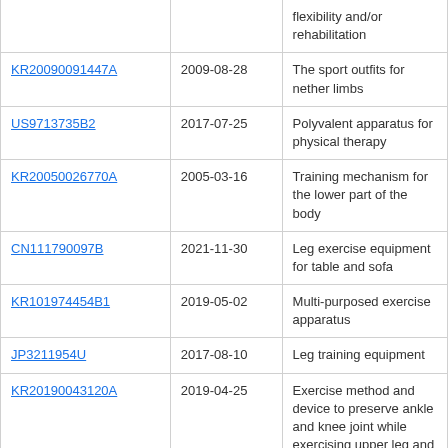| Patent | Date | Title |
| --- | --- | --- |
|  |  | flexibility and/or rehabilitation |
| KR20090091447A | 2009-08-28 | The sport outfits for nether limbs |
| US9713735B2 | 2017-07-25 | Polyvalent apparatus for physical therapy |
| KR20050026770A | 2005-03-16 | Training mechanism for the lower part of the body |
| CN111790097B | 2021-11-30 | Leg exercise equipment for table and sofa |
| KR101974454B1 | 2019-05-02 | Multi-purposed exercise apparatus |
| JP3211954U | 2017-08-10 | Leg training equipment |
| KR20190043120A | 2019-04-25 | Exercise method and device to preserve ankle and knee joint while exercising upper leg and hip |